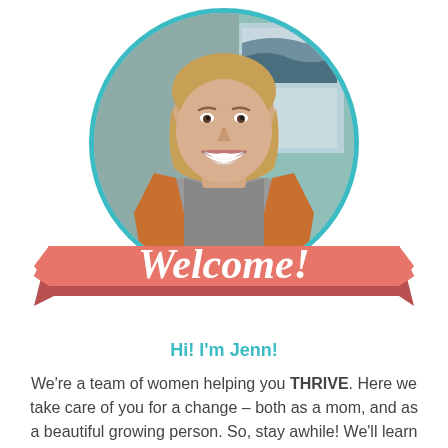[Figure (photo): A smiling woman with blonde hair wearing an orange cardigan over a grey top, photographed in front of a window with a coastal landscape painting, framed in a teal circular border.]
[Figure (illustration): A coral/salmon colored ribbon banner with the word 'Welcome!' written in white cursive/script font, with pointed ends on left and right forming a banner shape.]
Hi! I'm Jenn!
We're a team of women helping you THRIVE. Here we take care of you for a change – both as a mom, and as a beautiful growing person. So, stay awhile! We'll learn and enjoy this crazy